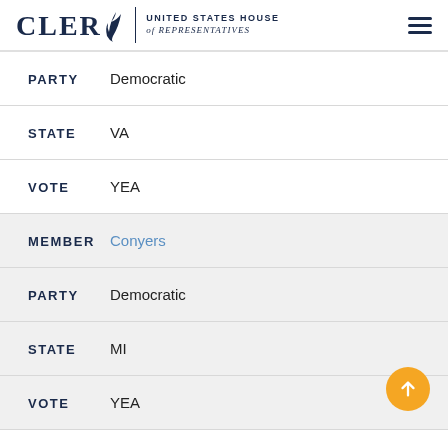CLERK United States House of Representatives
PARTY Democratic
STATE VA
VOTE YEA
MEMBER Conyers
PARTY Democratic
STATE MI
VOTE YEA